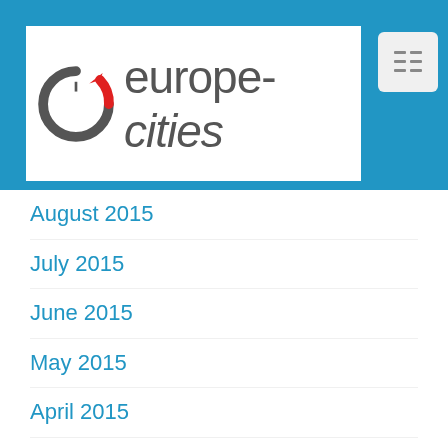[Figure (logo): europe-cities website logo with circular arrow icon in grey and red, and text 'europe-cities' in grey]
August 2015
July 2015
June 2015
May 2015
April 2015
March 2015
February 2015
January 2015
December 2014